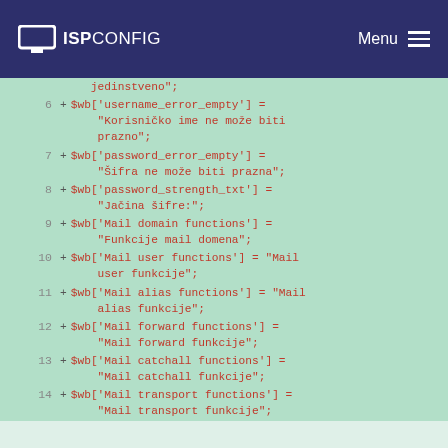ISPConfig Menu
[Figure (screenshot): Code diff view showing PHP array assignments with Bosnian/Croatian translation strings. Lines 6-14 are shown with green highlighting indicating added lines. Each line shows $wb array key assignments with string values in Croatian/Bosnian language.]